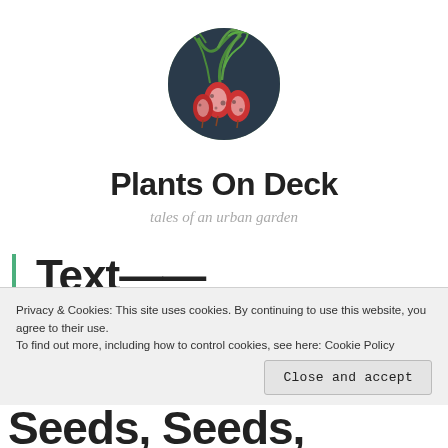[Figure (illustration): Circular logo image showing a bunch of red and white radishes with green stems on a dark background]
Plants On Deck
tales of an urban garden
Text partially visible (article title cut off)
Privacy & Cookies: This site uses cookies. By continuing to use this website, you agree to their use. To find out more, including how to control cookies, see here: Cookie Policy
Close and accept
Seeds, Seeds, Plants,